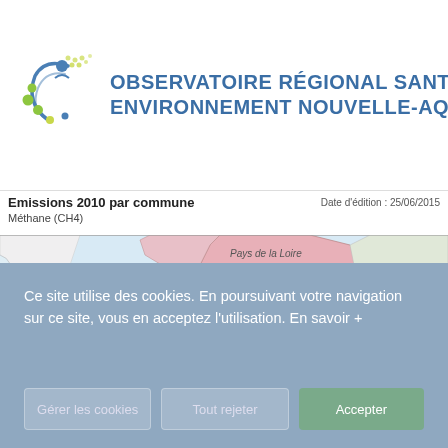[Figure (logo): Logo of Observatoire Régional Santé Environnement Nouvelle-Aquitaine with circular dot pattern and arc design in green and blue]
OBSERVATOIRE RÉGIONAL SANTÉ ENVIRONNEMENT NOUVELLE-AQ
Emissions 2010 par commune
Méthane (CH4)
Date d'édition : 25/06/2015
[Figure (map): Partial map showing French regions including Pays de la Loire with administrative boundaries, pink shading on some areas]
Ce site utilise des cookies. En poursuivant votre navigation sur ce site, vous en acceptez l'utilisation. En savoir +